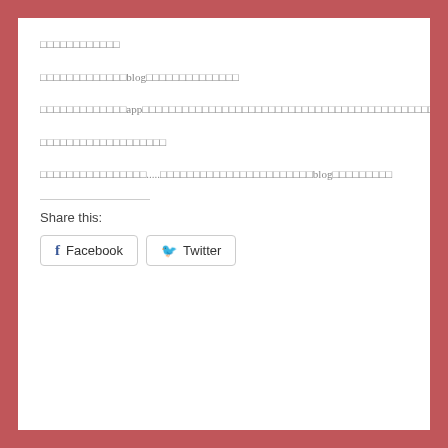□□□□□□□□□□□□
□□□□□□□□□□□□□blog□□□□□□□□□□□□□□
□□□□□□□□□□□□□app□□□□□□□□□□□□□□□□□□□□□□□□□□□□□□□□□□□□□□□□□□□□□□□□□□□□□□□□□□□□□□□□□□□□□□□□□.....□□□□□□□□□□□□□□□□□□app□□□□□□□□□□□□
□□□□□□□□□□□□□□□□□□□
□□□□□□□□□□□□□□□□□.....□□□□□□□□□□□□□□□□□□□□□□□blog□□□□□□□□□
Share this:
Facebook  Twitter